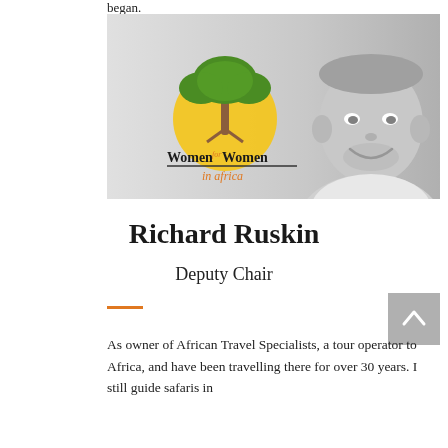began.
[Figure (photo): A banner image showing the Women for Women in Africa logo (a tree with green leaves over a yellow sun, with text 'Women for Women in Africa') on the left, and a black-and-white portrait photo of a middle-aged man (Richard Ruskin) smiling on the right, against a grey gradient background.]
Richard Ruskin
Deputy Chair
As owner of African Travel Specialists, a tour operator to Africa, and have been travelling there for over 30 years. I still guide safaris in